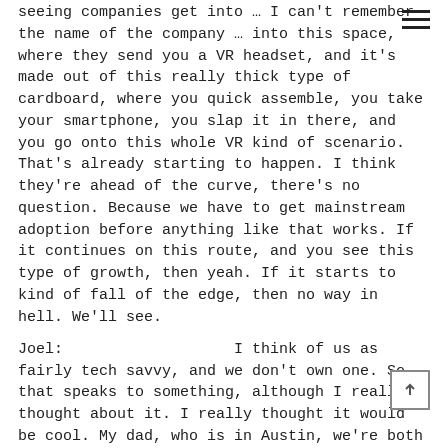seeing companies get into … I can't remember the name of the company … into this space, where they send you a VR headset, and it's made out of this really thick type of cardboard, where you quick assemble, you take your smartphone, you slap it in there, and you go onto this whole VR kind of scenario. That's already starting to happen. I think they're ahead of the curve, there's no question. Because we have to get mainstream adoption before anything like that works. If it continues on this route, and you see this type of growth, then yeah. If it starts to kind of fall of the edge, then no way in hell. We'll see.
Joel:   I think of us as fairly tech savvy, and we don't own one. So that speaks to something, although I really thought about it. I really thought it would be cool. My dad, who is in Austin, we're both sports fans, we both text each other during games … I thought it would be really cool to be like Jonah Hill and the Maroon 5 guy, to watch games with my dad on this headset. Now that might tick off our wives …